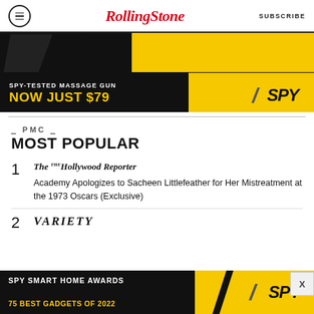Rolling Stone | SUBSCRIBE
[Figure (other): Advertisement banner: SPY-TESTED MASSAGE GUN NOW JUST $79 with SPY logo on black and yellow background]
PMC
MOST POPULAR
1 The Hollywood Reporter — Academy Apologizes to Sacheen Littlefeather for Her Mistreatment at the 1973 Oscars (Exclusive)
2 VARIETY
[Figure (other): Advertisement banner: SPY SMART HOME AWARDS 75 BEST GADGETS OF 2022 with SPY logo on black and yellow background]